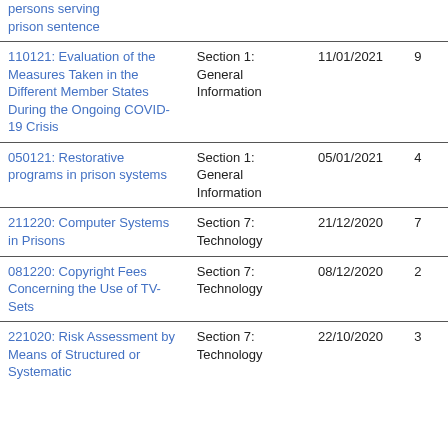| Title | Section | Date | # |
| --- | --- | --- | --- |
| persons serving prison sentence |  |  |  |
| 110121: Evaluation of the Measures Taken in the Different Member States During the Ongoing COVID-19 Crisis | Section 1: General Information | 11/01/2021 | 9 |
| 050121: Restorative programs in prison systems | Section 1: General Information | 05/01/2021 | 4 |
| 211220: Computer Systems in Prisons | Section 7: Technology | 21/12/2020 | 7 |
| 081220: Copyright Fees Concerning the Use of TV-Sets | Section 7: Technology | 08/12/2020 | 2 |
| 221020: Risk Assessment by Means of Structured or Systematic | Section 7: Technology | 22/10/2020 | 3 |